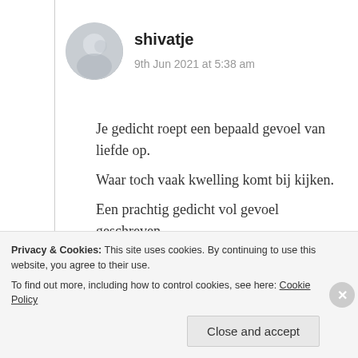[Figure (photo): Circular avatar/profile photo of user shivatje, showing a nature/winter scene in grey and white tones]
shivatje
9th Jun 2021 at 5:38 am
Je gedicht roept een bepaald gevoel van liefde op.
Waar toch vaak kwelling komt bij kijken.
Een prachtig gedicht vol gevoel geschreven.

Aum Shanthi
★ Liked by 2 people
Log in to Reply
Privacy & Cookies: This site uses cookies. By continuing to use this website, you agree to their use.
To find out more, including how to control cookies, see here: Cookie Policy
Close and accept